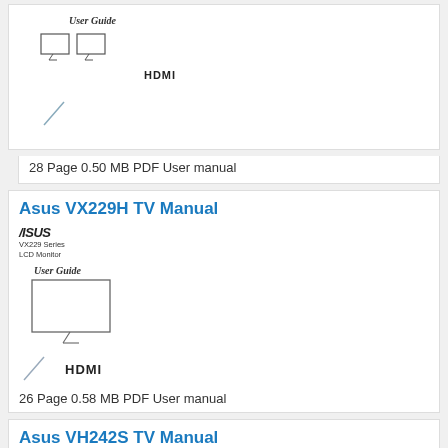[Figure (illustration): Top partial card showing ASUS monitor user guide cover with two monitors side by side and HDMI logo]
28 Page 0.50 MB PDF User manual
Asus VX229H TV Manual
[Figure (illustration): ASUS VX229 Series LCD Monitor User Guide cover with single monitor illustration and HDMI logo]
26 Page 0.58 MB PDF User manual
Asus VH242S TV Manual
[Figure (illustration): ASUS VH242/VH222 Series LCD Monitor cover image (partial)]